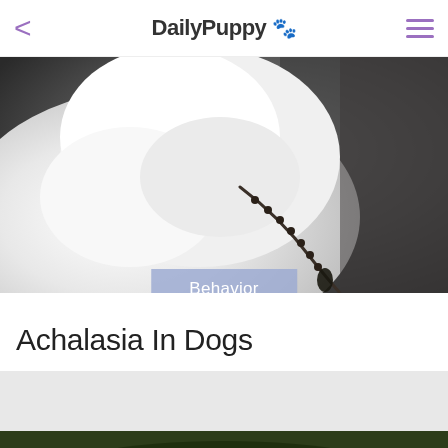DailyPuppy 🐾
[Figure (photo): White fluffy dog with a dark beaded necklace/collar, close-up photo on dark background]
Behavior
Achalasia In Dogs
[Figure (photo): Partial view of a dog outdoors on green background, bottom of page]